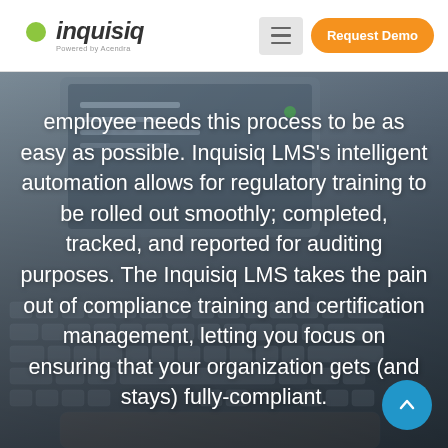inquisiq | Powered by Acendra | Request Demo
employee needs this process to be as easy as possible. Inquisiq LMS’s intelligent automation allows for regulatory training to be rolled out smoothly; completed, tracked, and reported for auditing purposes. The Inquisiq LMS takes the pain out of compliance training and certification management, letting you focus on ensuring that your organization gets (and stays) fully-compliant.